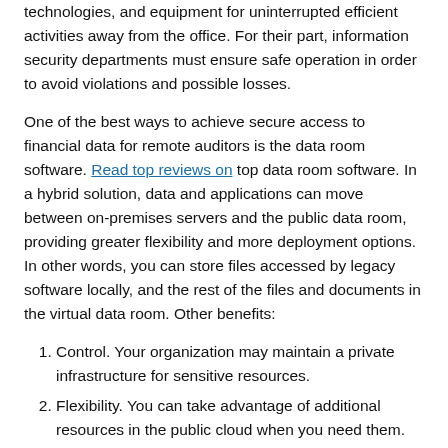technologies, and equipment for uninterrupted efficient activities away from the office. For their part, information security departments must ensure safe operation in order to avoid violations and possible losses.
One of the best ways to achieve secure access to financial data for remote auditors is the data room software. Read top reviews on top data room software. In a hybrid solution, data and applications can move between on-premises servers and the public data room, providing greater flexibility and more deployment options. In other words, you can store files accessed by legacy software locally, and the rest of the files and documents in the virtual data room. Other benefits:
Control. Your organization may maintain a private infrastructure for sensitive resources.
Flexibility. You can take advantage of additional resources in the public cloud when you need them.
Profitability. With cloud scalability, you only pay for extra